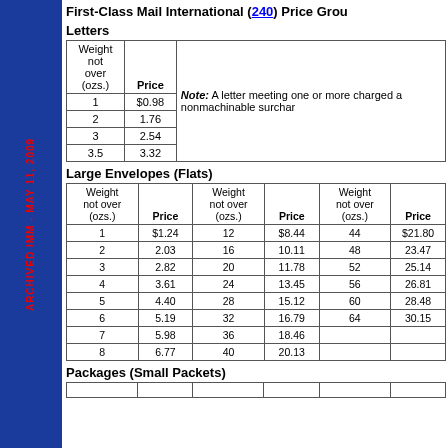ARCHIVED IMM - MAY 11, 2009
First-Class Mail International (240) Price Group
Letters
| Weight not over (ozs.) | Price | Note |
| --- | --- | --- |
| 1 | $0.98 | Note: A letter meeting one or more charged a nonmachinable surchar |
| 2 | 1.76 |  |
| 3 | 2.54 |  |
| 3.5 | 3.32 |  |
Large Envelopes (Flats)
| Weight not over (ozs.) | Price | Weight not over (ozs.) | Price | Weight not over (ozs.) | Price |
| --- | --- | --- | --- | --- | --- |
| 1 | $1.24 | 12 | $8.44 | 44 | $21.80 |
| 2 | 2.03 | 16 | 10.11 | 48 | 23.47 |
| 3 | 2.82 | 20 | 11.78 | 52 | 25.14 |
| 4 | 3.61 | 24 | 13.45 | 56 | 26.81 |
| 5 | 4.40 | 28 | 15.12 | 60 | 28.48 |
| 6 | 5.19 | 32 | 16.79 | 64 | 30.15 |
| 7 | 5.98 | 36 | 18.46 |  |  |
| 8 | 6.77 | 40 | 20.13 |  |  |
Packages (Small Packets)